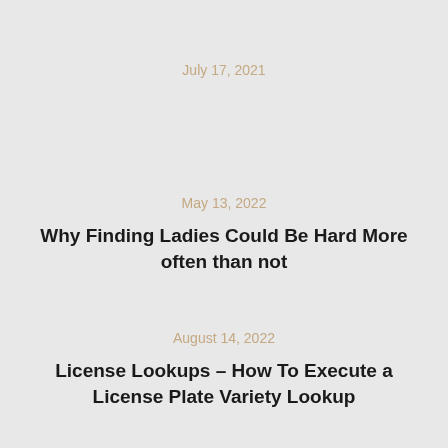July 17, 2021
May 13, 2022
Why Finding Ladies Could Be Hard More often than not
August 14, 2022
License Lookups – How To Execute a License Plate Variety Lookup